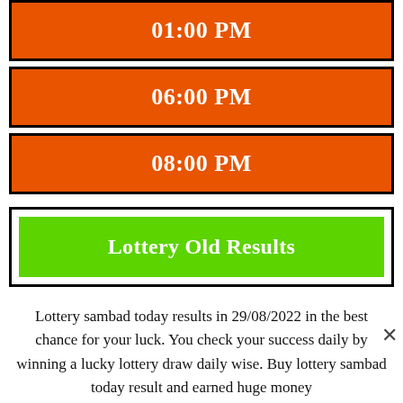01:00 PM
06:00 PM
08:00 PM
Lottery Old Results
Lottery sambad today results in 29/08/2022 in the best chance for your luck. You check your success daily by winning a lucky lottery draw daily wise. Buy lottery sambad today result and earned huge money